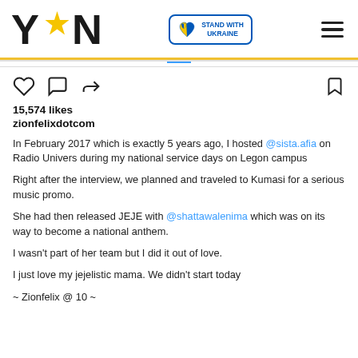[Figure (logo): YEN logo with yellow star replacing the letter A, bold black text]
[Figure (logo): Stand with Ukraine badge with blue and yellow heart icon and text STAND WITH UKRAINE]
15,574 likes
zionfelixdotcom
In February 2017 which is exactly 5 years ago, I hosted @sista.afia on Radio Univers during my national service days on Legon campus

Right after the interview, we planned and traveled to Kumasi for a serious music promo.

She had then released JEJE with @shattawalenima which was on its way to become a national anthem.

I wasn't part of her team but I did it out of love.

I just love my jejelistic mama. We didn't start today

~ Zionfelix @ 10 ~